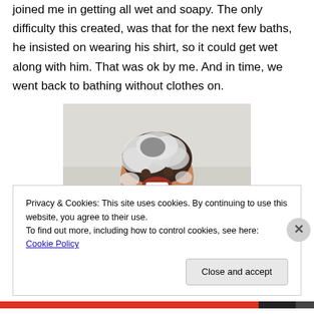joined me in getting all wet and soapy. The only difficulty this created, was that for the next few baths, he insisted on wearing his shirt, so it could get wet along with him. That was ok by me. And in time, we went back to bathing without clothes on.
[Figure (photo): A young child laughing in a bathtub with soapy foam/bubbles on their head and face, bathtub visible in background]
Privacy & Cookies: This site uses cookies. By continuing to use this website, you agree to their use.
To find out more, including how to control cookies, see here: Cookie Policy